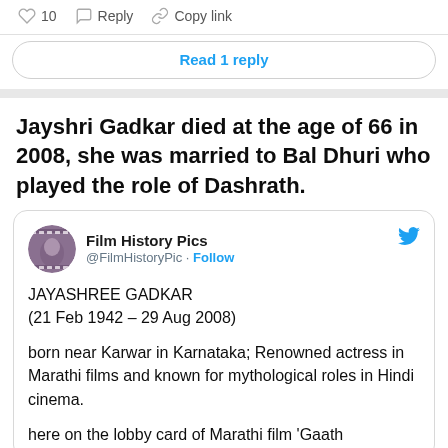[Figure (screenshot): Top bar with heart count 10, Reply, and Copy link icons]
Read 1 reply
Jayshri Gadkar died at the age of 66 in 2008, she was married to Bal Dhuri who played the role of Dashrath.
[Figure (screenshot): Embedded tweet from Film History Pics @FilmHistoryPic with avatar and Twitter bird icon, Follow button, containing text about JAYASHREE GADKAR (21 Feb 1942 – 29 Aug 2008), born near Karwar in Karnataka; Renowned actress in Marathi films and known for mythological roles in Hindi cinema. here on the lobby card of Marathi film 'Gaath]